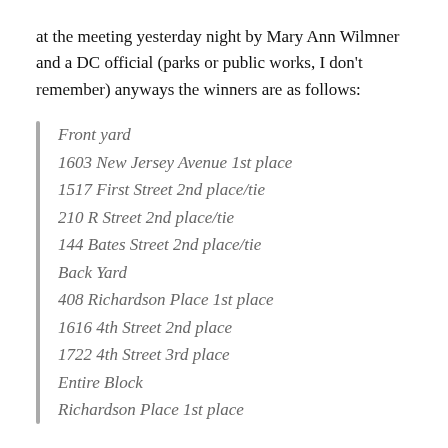at the meeting yesterday night by Mary Ann Wilmner and a DC official (parks or public works, I don't remember) anyways the winners are as follows:
Front yard
1603 New Jersey Avenue 1st place
1517 First Street 2nd place/tie
210 R Street 2nd place/tie
144 Bates Street 2nd place/tie
Back Yard
408 Richardson Place 1st place
1616 4th Street 2nd place
1722 4th Street 3rd place
Entire Block
Richardson Place 1st place